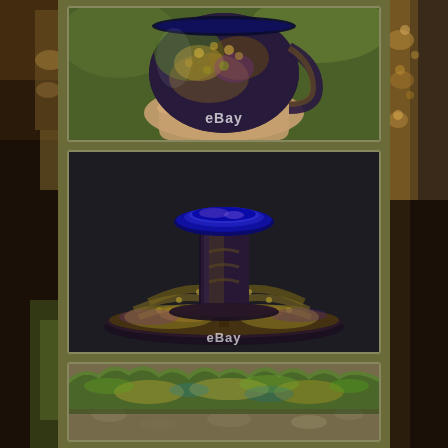[Figure (photo): Close-up photo of a dark iridescent carnival glass cup/mug being held in a hand, showing purple, green, and gold luster with floral/berry pattern. eBay watermark visible.]
[Figure (photo): Photo of a dark iridescent carnival glass candlestick/hat vase with cobalt blue interior rim and elaborate feather/fern embossed pattern on the wide flared base, showing gold, green, and purple iridescence. eBay watermark visible.]
[Figure (photo): Partial photo of a ruffled edge carnival glass piece with iridescent green, gold colors visible at the bottom of the page.]